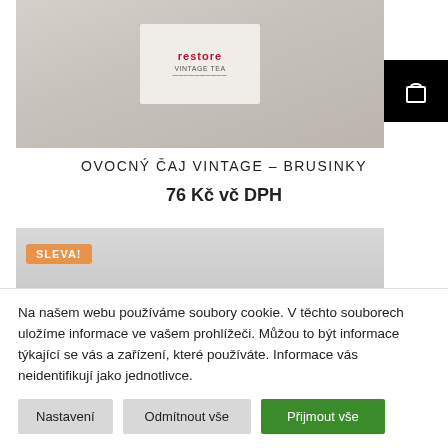[Figure (photo): Product image of a box labeled 'restore' Vintage Tea on a light beige/grey background, with a black shopping cart button in the top right corner]
OVOCNÝ ČAJ VINTAGE – BRUSINKY
76 Kč vč DPH
[Figure (photo): Product image with grey background, partially visible dark product at bottom. SLEVA! badge in orange top-left.]
Na našem webu používáme soubory cookie. V těchto souborech uložíme informace ve vašem prohlížeči. Můžou to být informace týkající se vás a zařízení, které používáte. Informace vás neidentifikují jako jednotlivce.